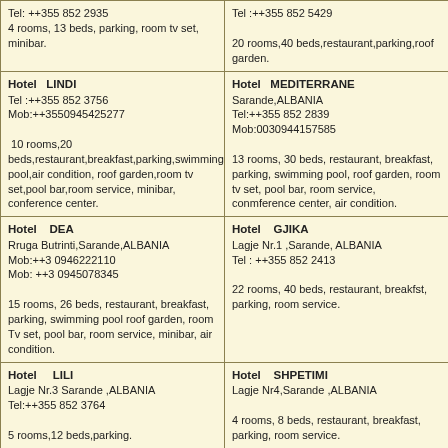| Tel: ++355 852 2935
4 rooms, 13 beds, parking, room tv set, minibar. | Tel :++355 852 5429
20 rooms,40 beds,restaurant,parking,roof garden. |
| Hotel  LINDI
Tel :++355 852 3756
Mob:++3550945425277
10 rooms,20 beds,restaurant,breakfast,parking,swimming pool,air condition, roof garden,room tv set,pool bar,room service, minibar, conference center. | Hotel  MEDITERRANE
Sarande,ALBANIA
Tel:++355 852 2839
Mob:0030944157585
13 rooms, 30 beds, restaurant, breakfast, parking, swimming pool, roof garden, room tv set, pool bar, room service, conmference center, air condition. |
| Hotel   DEA
Rruga Butrinti,Sarande,ALBANIA
Mob:++3 0946222110
Mob: ++3 0945078345
15 rooms, 26 beds, restaurant, breakfast, parking, swimming pool roof garden, room Tv set, pool bar, room service, minibar, air condition. | Hotel   GJIKA
Lagje Nr.1 ,Sarande,ALBANIA
Tel : ++355 852 2413
22 rooms, 40 beds, restaurant, breakfst, parking, room service. |
| Hotel    LILI
Lagje Nr.3 Sarande ,ALBANIA
Tel:++355 852 3764
5 rooms,12 beds,parking. | Hotel   SHPETIMI
Lagje Nr4,Sarande ,ALBANIA
4 rooms, 8 beds, restaurant, breakfast, parking, room service. |
| Hotel   FRESKIA
Qafe gjashte,Sranade,ALBANIA
Tel: ++355 852 3854 | Hotel    GENCI
Lagje Nr.2 Sarande,ALBANIA |